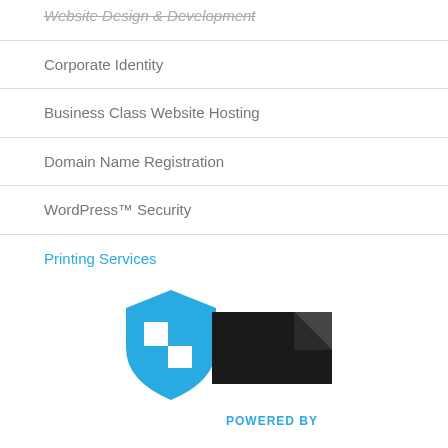Website Design & Development
Corporate Identity
Business Class Website Hosting
Domain Name Registration
WordPress™ Security
Printing Services
[Figure (logo): A blue shield logo with a white checkerboard pattern and a dark document badge with 'POWERED BY' in cyan text]